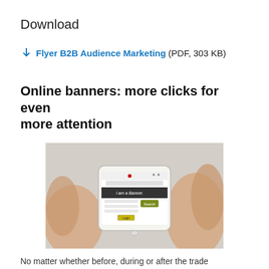Download
↓ Flyer B2B Audience Marketing (PDF, 303 KB)
Online banners: more clicks for even more attention
[Figure (photo): Two hands holding a smartphone displaying a mobile website with a banner that reads 'I am a Banner.']
No matter whether before, during or after the trade